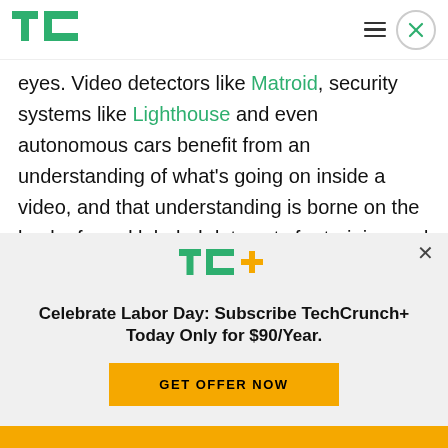TechCrunch header with TC logo, hamburger menu, and close button
eyes. Video detectors like Matroid, security systems like Lighthouse and even autonomous cars benefit from an understanding of what's going on inside a video, and that understanding is borne on the back of good labeled data sets for training and benchmarking.
[Figure (other): TechCrunch+ promotional banner with TC+ logo, headline 'Celebrate Labor Day: Subscribe TechCrunch+ Today Only for $90/Year.' and a GET OFFER NOW button]